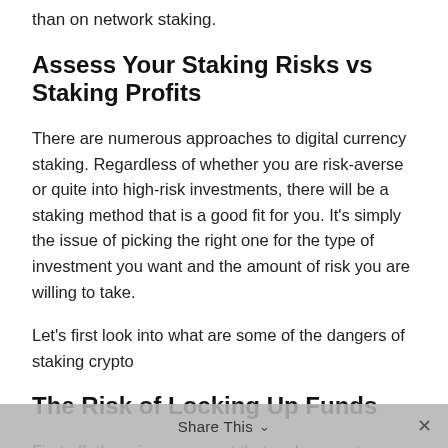than on network staking.
Assess Your Staking Risks vs Staking Profits
There are numerous approaches to digital currency staking. Regardless of whether you are risk-averse or quite into high-risk investments, there will be a staking method that is a good fit for you. It's simply the issue of picking the right one for the type of investment you want and the amount of risk you are willing to take.
Let's first look into what are some of the dangers of staking crypto
The Risk of Locking Up Funds
First off, there is one aspect that makes crypto staking risky which is common to all cryptocurrency trades: The markets are volatile.
Share This ∨  ✕